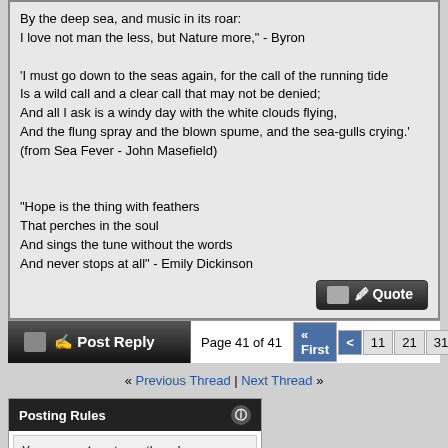By the deep sea, and music in its roar:
I love not man the less, but Nature more," - Byron

'I must go down to the seas again, for the call of the running tide
Is a wild call and a clear call that may not be denied;
And all I ask is a windy day with the white clouds flying,
And the flung spray and the blown spume, and the sea-gulls crying.' (from Sea Fever - John Masefield)

"Hope is the thing with feathers
That perches in the soul
And sings the tune without the words
And never stops at all" - Emily Dickinson
Page 41 of 41 « First < 11 21 31 39 40 41
« Previous Thread | Next Thread »
Posting Rules
You may not post new threads
You may not post replies
You may not post attachments
You may not edit your posts

BB code is On
Smilies are On